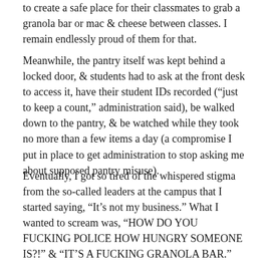to create a safe place for their classmates to grab a granola bar or mac & cheese between classes. I remain endlessly proud of them for that.
Meanwhile, the pantry itself was kept behind a locked door, & students had to ask at the front desk to access it, have their student IDs recorded (“just to keep a count,” administration said), be walked down to the pantry, & be watched while they took no more than a few items a day (a compromise I put in place to get administration to stop asking me about supposed pantry misuse).
Eventually, I got so tired of the whispered stigma from the so-called leaders at the campus that I started saying, “It’s not my business.” What I wanted to scream was, “HOW DO YOU FUCKING POLICE HOW HUNGRY SOMEONE IS?!” & “IT’S A FUCKING GRANOLA BAR.”